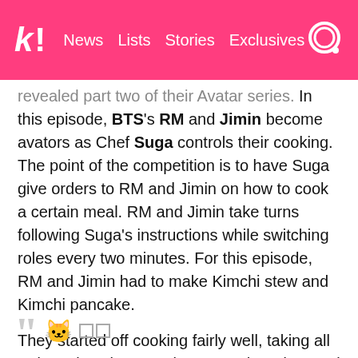K! | News | Lists | Stories | Exclusives
revealed part two of their Avatar series. In this episode, BTS's RM and Jimin become avators as Chef Suga controls their cooking. The point of the competition is to have Suga give orders to RM and Jimin on how to cook a certain meal. RM and Jimin take turns following Suga's instructions while switching roles every two minutes. For this episode, RM and Jimin had to make Kimchi stew and Kimchi pancake.
They started off cooking fairly well, taking all orders given by Suga in a smooth and natural manner.